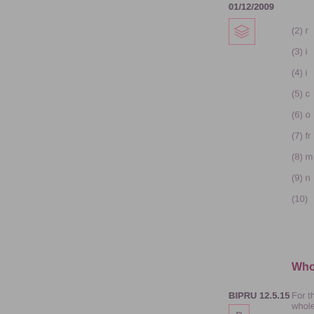01/12/2009
[Figure (other): Stacked layers icon in a bordered box]
(2) r
(3) i
(4) i
(5) c
(6) o
(7) fr
(8) m
(9) n
(10)
Whole
BIPRU 12.5.15
[Figure (other): R icon in a bordered box]
01/12/2009
[Figure (other): Stacked layers icon in a bordered box]
For the wholesa